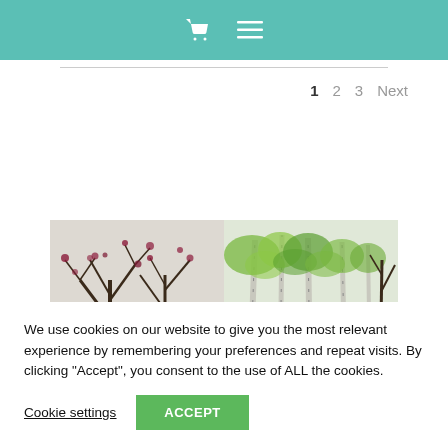Shopping cart and menu navigation header
1  2  3  Next
[Figure (photo): A decorative glass or acrylic panel with hand-painted tree designs showing spring/winter trees with bare dark branches and blossoms on the left, and green leafy birch trees on the right, displayed on a light background.]
We use cookies on our website to give you the most relevant experience by remembering your preferences and repeat visits. By clicking “Accept”, you consent to the use of ALL the cookies.
Cookie settings   ACCEPT